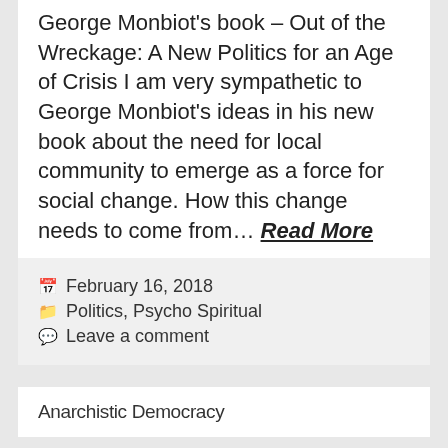George Monbiot's book – Out of the Wreckage: A New Politics for an Age of Crisis I am very sympathetic to George Monbiot's ideas in his new book about the need for local community to emerge as a force for social change. How this change needs to come from… Read More
February 16, 2018
Politics, Psycho Spiritual
Leave a comment
Anarchistic Democracy